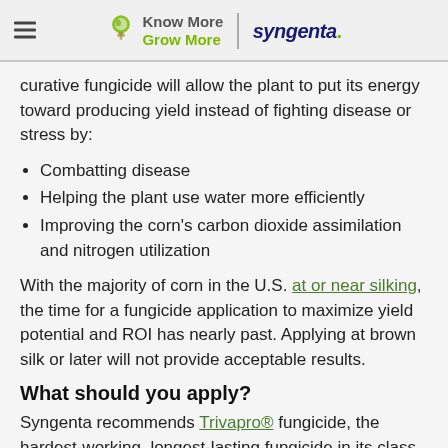Know More Grow More | syngenta
curative fungicide will allow the plant to put its energy toward producing yield instead of fighting disease or stress by:
Combatting disease
Helping the plant use water more efficiently
Improving the corn's carbon dioxide assimilation and nitrogen utilization
With the majority of corn in the U.S. at or near silking, the time for a fungicide application to maximize yield potential and ROI has nearly past. Applying at brown silk or later will not provide acceptable results.
What should you apply?
Syngenta recommends Trivapro® fungicide, the hardest-working, longest-lasting fungicide in its class